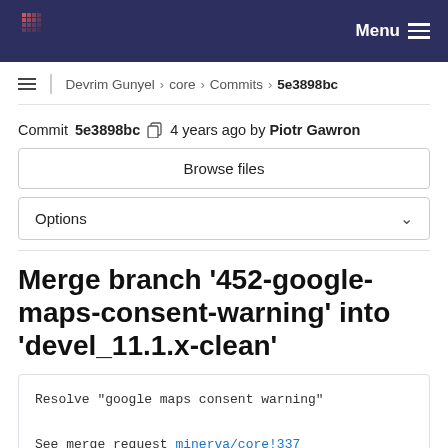Menu
Devrim Gunyel > core > Commits > 5e3898bc
Commit 5e3898bc  4 years ago by Piotr Gawron
Browse files
Options
Merge branch '452-google-maps-consent-warning' into 'devel_11.1.x-clean'
Resolve "google maps consent warning"

See merge request minerva/core!337